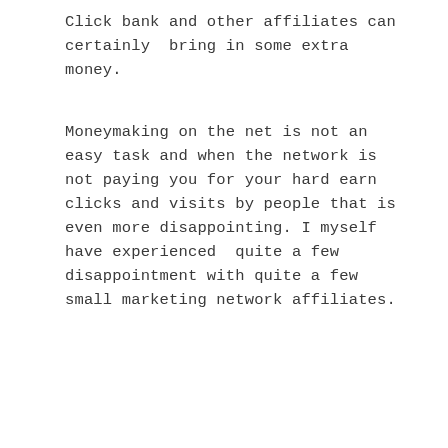Click bank and other affiliates can certainly  bring in some extra money.
Moneymaking on the net is not an easy task and when the network is not paying you for your hard earn clicks and visits by people that is even more disappointing. I myself have experienced  quite a few disappointment with quite a few small marketing network affiliates.